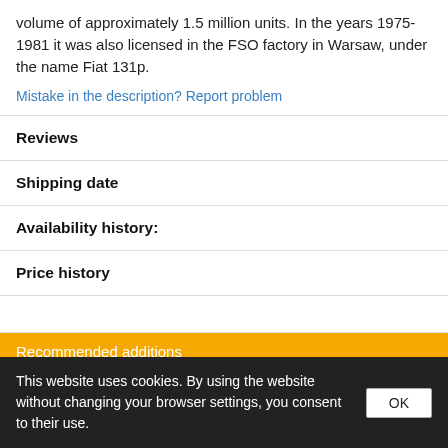volume of approximately 1.5 million units. In the years 1975-1981 it was also licensed in the FSO factory in Warsaw, under the name Fiat 131p.
Mistake in the description? Report problem
Reviews
Shipping date
Availability history:
Price history
Recommended additions
Nets and drilled plates (18 models - 80x
This website uses cookies. By using the website without changing your browser settings, you consent to their use. OK